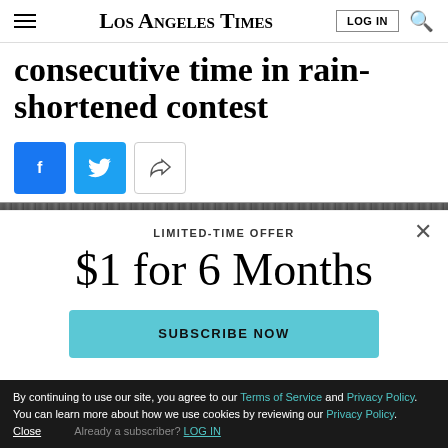Los Angeles Times
consecutive time in rain-shortened contest
[Figure (screenshot): Social share buttons: Facebook (blue), Twitter (blue), Share (white with arrow icon)]
[Figure (photo): Dark image strip, partial photo visible]
LIMITED-TIME OFFER
$1 for 6 Months
SUBSCRIBE NOW
By continuing to use our site, you agree to our Terms of Service and Privacy Policy. You can learn more about how we use cookies by reviewing our Privacy Policy. Close
Already a subscriber? LOG IN